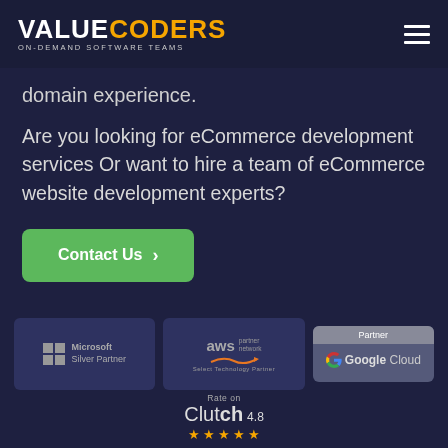ValueCoders — ON-DEMAND SOFTWARE TEAMS
domain experience.
Are you looking for eCommerce development services Or want to hire a team of eCommerce website development experts?
Contact Us >
[Figure (logo): Microsoft Silver Partner logo]
[Figure (logo): AWS partner network Select Technology Partner logo]
[Figure (logo): Google Cloud Partner logo]
[Figure (logo): Clutch 4.8 stars rating logo with Rate on label]